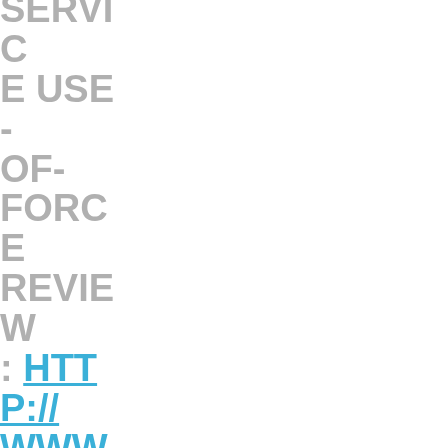SERVICE USE-OF-FORCE REVIEW: HTTP://WWW.MRU.CA/0C7 (METRO NEWS — KELLY SUNDBERG, FACULTY) SISTERS PASSIONATE ABOUT HEALTHY FOOD FOR FAMILY